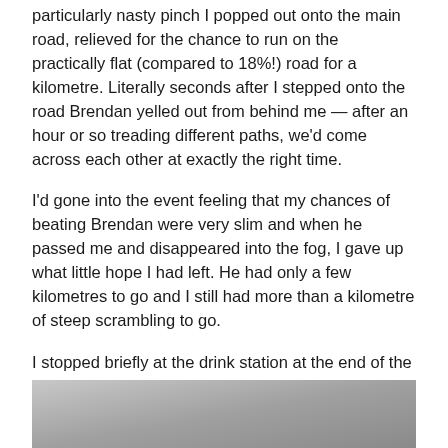particularly nasty pinch I popped out onto the main road, relieved for the chance to run on the practically flat (compared to 18%!) road for a kilometre. Literally seconds after I stepped onto the road Brendan yelled out from behind me — after an hour or so treading different paths, we'd come across each other at exactly the right time.
I'd gone into the event feeling that my chances of beating Brendan were very slim and when he passed me and disappeared into the fog, I gave up what little hope I had left. He had only a few kilometres to go and I still had more than a kilometre of steep scrambling to go.
I stopped briefly at the drink station at the end of the road section before turning right to tackle the final push to the summit.
[Figure (photo): A partially visible outdoor photograph, likely showing a foggy or misty landscape scene at the bottom of the page.]